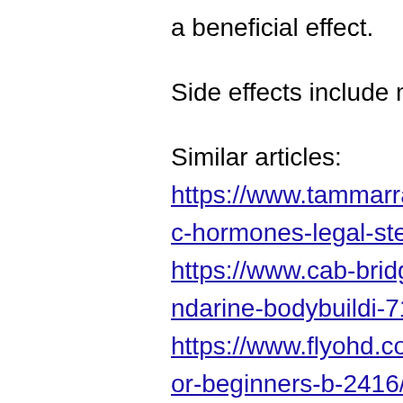a beneficial effect.
Side effects include mood disturbance, low
Similar articles:
https://www.tammarrahaddison.com/profile/legal-anabolic-hormones-legal-steroids-4776/profile https://www.cab-bridge.com/profile/andarine-s4-effects-andarine-bodybuildi-7113/profile https://www.flyohd.com/profile/best-testosterone-cycle-for-beginners-b-2416/profile https://www.nagisahirakawa.net/profile/deca-durabolin-low-dose-lgd-4033-result-5049/profile